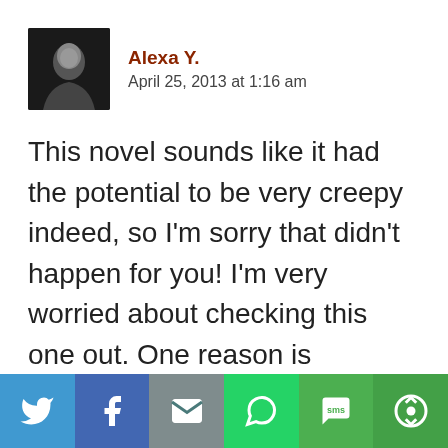[Figure (photo): Black and white avatar photo of Alexa Y.]
Alexa Y.
April 25, 2013 at 1:16 am
This novel sounds like it had the potential to be very creepy indeed, so I'm sorry that didn't happen for you! I'm very worried about checking this one out. One reason is because I'm a big scaredy cat. The other reason is because I really dislike when
[Figure (infographic): Social share bar with Twitter, Facebook, Email, WhatsApp, SMS, and More buttons]